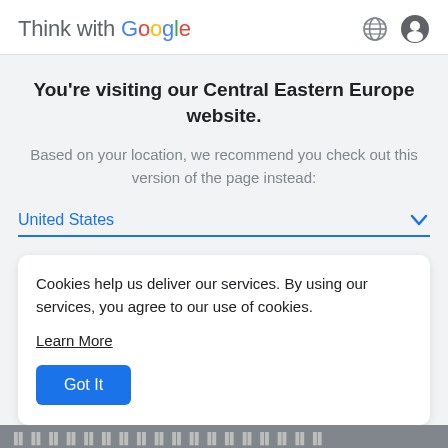Think with Google
You're visiting our Central Eastern Europe website.
Based on your location, we recommend you check out this version of the page instead:
United States
Cookies help us deliver our services. By using our services, you agree to our use of cookies.
Learn More
Got It